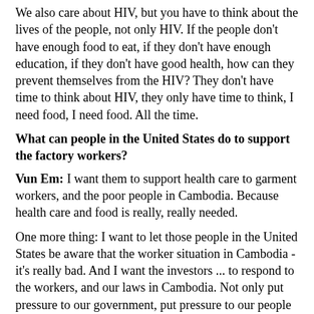We also care about HIV, but you have to think about the lives of the people, not only HIV. If the people don't have enough food to eat, if they don't have enough education, if they don't have good health, how can they prevent themselves from the HIV? They don't have time to think about HIV, they only have time to think, I need food, I need food. All the time.
What can people in the United States do to support the factory workers?
Vun Em: I want them to support health care to garment workers, and the poor people in Cambodia. Because health care and food is really, really needed.
One more thing: I want to let those people in the United States be aware that the worker situation in Cambodia - it's really bad. And I want the investors ... to respond to the workers, and our laws in Cambodia. Not only put pressure to our government, put pressure to our people here. You have to respect our law and our people. And also you can support our country and our government and our people, not only judge. You have to learn, you have to understand what is the real situation in Cambodia.
----------------
"A Karaoke Girl's Life" (song written by the Messenger